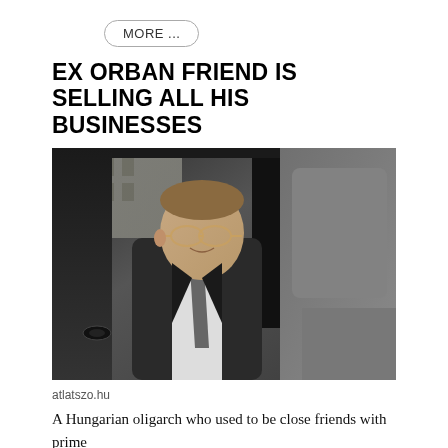MORE ...
EX ORBAN FRIEND IS SELLING ALL HIS BUSINESSES
[Figure (photo): A man in a suit and tie with glasses sitting in the back seat of a dark car, photographed from outside through the open rear door.]
atlatszo.hu
A Hungarian oligarch who used to be close friends with prime